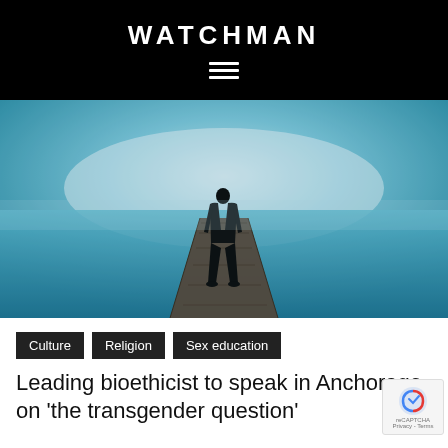WATCHMAN
[Figure (photo): Silhouette of a person in a dark suit standing at the end of a wooden pier/dock extending into a calm, misty blue-teal water body with a bright foggy horizon.]
Culture
Religion
Sex education
Leading bioethicist to speak in Anchorage on 'the transgender question'